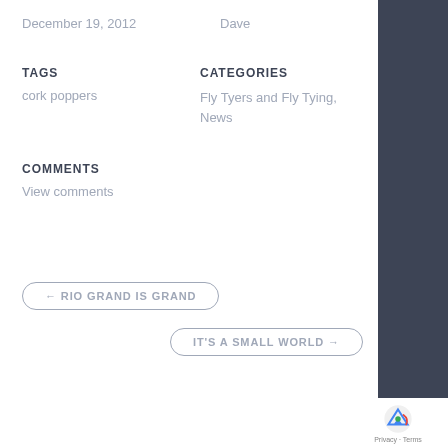December 19, 2012
Dave
TAGS
cork poppers
CATEGORIES
Fly Tyers and Fly Tying, News
COMMENTS
View comments
← RIO GRAND IS GRAND
IT'S A SMALL WORLD →